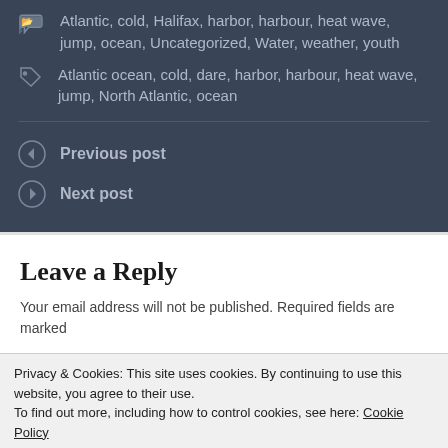Atlantic, cold, Halifax, harbor, harbour, heat wave, jump, ocean, Uncategorized, Water, weather, youth
Atlantic ocean, cold, dare, harbor, harbour, heat wave, jump, North Atlantic, ocean
Previous post
Next post
Leave a Reply
Your email address will not be published. Required fields are marked
Privacy & Cookies: This site uses cookies. By continuing to use this website, you agree to their use.
To find out more, including how to control cookies, see here: Cookie Policy